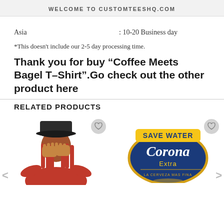WELCOME TO CUSTOMTEESHQ.COM
Asia                              : 10-20 Business day
*This doesn't include our 2-5 day processing time.
Thank you for buy "Coffee Meets Bagel T-Shirt".Go check out the other product here
RELATED PRODUCTS
[Figure (photo): Person wearing red clothing and baseball cap covering face with hands]
[Figure (logo): Save Water Corona Extra beer logo graphic]